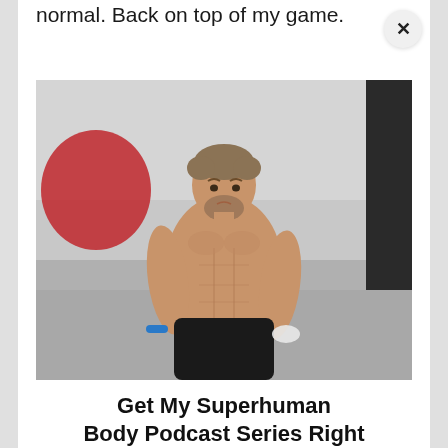normal. Back on top of my game.
[Figure (photo): Shirtless athletic man with beard and blue fitness tracker wristband, standing in a gym in front of a black and white action background with red accent, wearing black shorts, looking to the side. Man appears very muscular and fit.]
Get My Superhuman Body Podcast Series Right